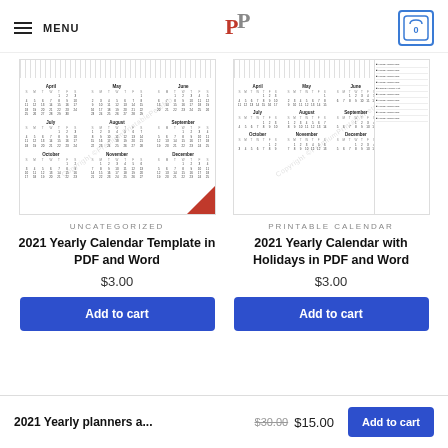MENU [logo] [cart: 0]
[Figure (illustration): 2021 Yearly Calendar template preview image with watermark 'Copyright PremiumPrintablePeteMo', calendar months grid visible, red corner fold]
UNCATEGORIZED
2021 Yearly Calendar Template in PDF and Word
$3.00
Add to cart
[Figure (illustration): 2021 Yearly Calendar with Holidays preview image with watermark, calendar months grid visible, right-side list panel, gold corner fold]
PRINTABLE CALENDAR
2021 Yearly Calendar with Holidays in PDF and Word
$3.00
Add to cart
2021 Yearly planners a... $30.00 $15.00 Add to cart